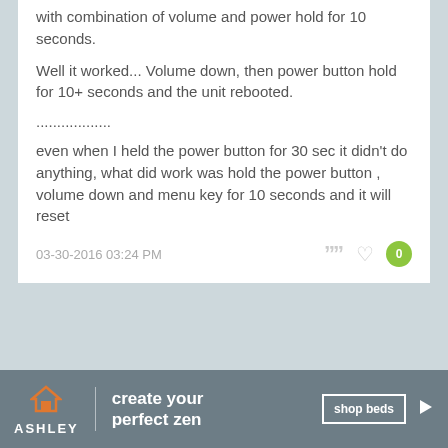with combination of volume and power hold for 10 seconds.
Well it worked... Volume down, then power button hold for 10+ seconds and the unit rebooted.
..................
even when I held the power button for 30 sec it didn't do anything, what did work was hold the power button , volume down and menu key for 10 seconds and it will reset
03-30-2016 03:24 PM
[Figure (infographic): Ashley Furniture advertisement banner with orange house logo, slogan 'create your perfect zen', and 'shop beds' button]